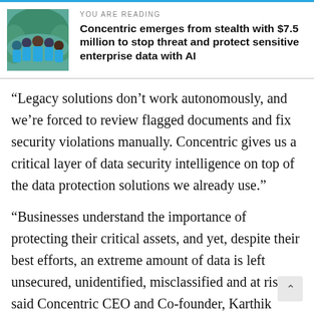[Figure (photo): Group photo of team members in teal/turquoise shirts outdoors]
YOU ARE READING
Concentric emerges from stealth with $7.5 million to stop threat and protect sensitive enterprise data with AI
“Legacy solutions don’t work autonomously, and we’re forced to review flagged documents and fix security violations manually. Concentric gives us a critical layer of data security intelligence on top of the data protection solutions we already use.”
“Businesses understand the importance of protecting their critical assets, and yet, despite their best efforts, an extreme amount of data is left unsecured, unidentified, misclassified and at risk,” said Concentric CEO and Co-founder, Karthik